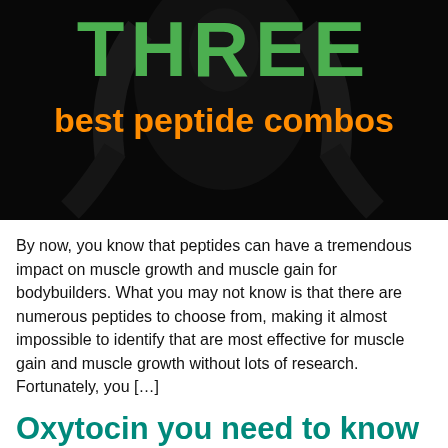[Figure (illustration): Dark background hero image showing a muscular bodybuilder silhouette with text overlay: 'THREE' in large green bold letters, and 'best peptide combos' in orange bold letters below]
By now, you know that peptides can have a tremendous impact on muscle growth and muscle gain for bodybuilders. What you may not know is that there are numerous peptides to choose from, making it almost impossible to identify that are most effective for muscle gain and muscle growth without lots of research. Fortunately, you […]
Oxytocin you need to know
[Figure (illustration): Partial view of a teal/cyan colored infographic about oxytocin, showing the top of a cartoon person's head]